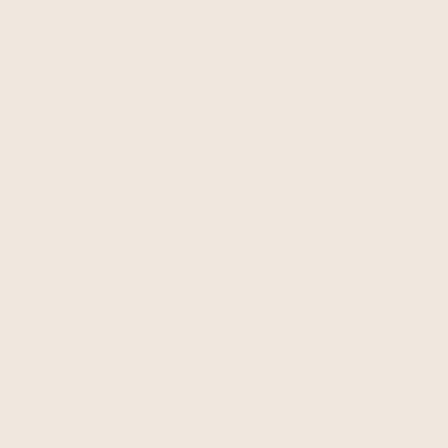[Figure (photo): Gold ornate decorative clock or stand with floral embossed design, brass/gold colored metal object with hinge at base, photographed on gray background]
[Figure (other): Buy Now button with red text on light gray rounded rectangle background]
[Figure (photo): Six circular watch dials/faces laid out in two rows of three: one gold/brass colored and five white porcelain enamel faces with numerals]
[Figure (other): Buy Now button with red text on light gray rounded rectangle background]
[Figure (other): Orange circular FREE shipping badge with white bold text]